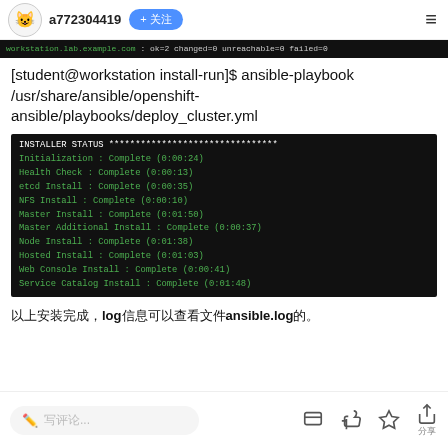a772304419
[Figure (screenshot): Terminal output showing: workstation.lab.example.com : ok=2  changed=0  unreachable=0  failed=0]
[student@workstation install-run]$ ansible-playbook /usr/share/ansible/openshift-ansible/playbooks/deploy_cluster.yml
[Figure (screenshot): Terminal showing INSTALLER STATUS with all steps Complete: Initialization (0:00:24), Health Check (0:00:13), etcd Install (0:00:35), NFS Install (0:00:10), Master Install (0:01:50), Master Additional Install (0:00:37), Node Install (0:01:38), Hosted Install (0:01:03), Web Console Install (0:00:41), Service Catalog Install (0:01:48)]
以上安装完成，log信息可以查看文件ansible.log的。